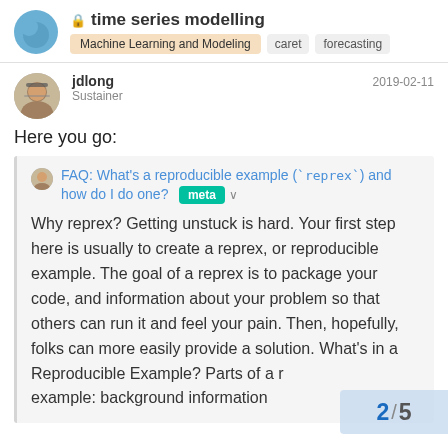🔒 time series modelling — Machine Learning and Modeling · caret · forecasting
jdlong
Sustainer
2019-02-11
Here you go:
FAQ: What's a reproducible example (`reprex`) and how do I do one? meta
Why reprex? Getting unstuck is hard. Your first step here is usually to create a reprex, or reproducible example. The goal of a reprex is to package your code, and information about your problem so that others can run it and feel your pain. Then, hopefully, folks can more easily provide a solution. What's in a Reproducible Example? Parts of a reproducible example: background information